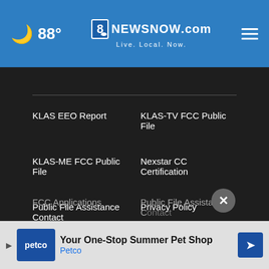8 News Now - 88° - Live. Local. Now.
KLAS EEO Report
KLAS-TV FCC Public File
KLAS-ME FCC Public File
Nexstar CC Certification
Public File Assistance Contact
Privacy Policy
Terms Of Use
Do Not Sell My Personal Information
FCC Applications
Public File Assistance Contact
[Figure (screenshot): Petco ad banner: Your One-Stop Summer Pet Shop]